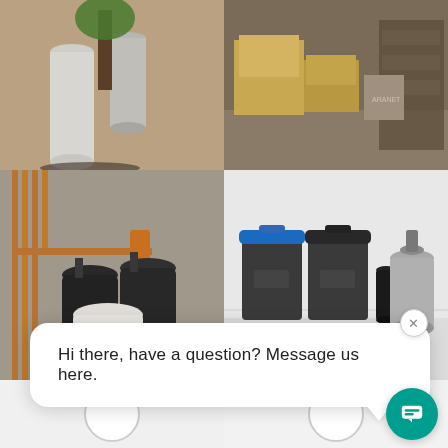[Figure (photo): Photo of large cylindrical water tanks/filters outside against a brick wall with vegetation]
[Figure (photo): Photo of indoor storage room with cardboard boxes and equipment]
[Figure (photo): Photo of water softener system with black tanks and copper pipes in a concrete room]
[Figure (photo): Photo of two trash bins with blue and black lids alongside a water softener system in a tiled room]
[Figure (photo): Partially visible bottom-left photo with circular placeholder]
[Figure (photo): Partially visible bottom-right photo with circular placeholder]
Hi there, have a question? Message us here.